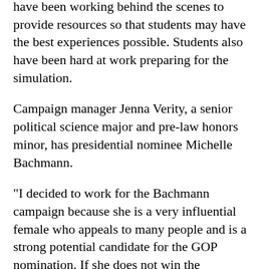have been working behind the scenes to provide resources so that students may have the best experiences possible. Students also have been hard at work preparing for the simulation.
Campaign manager Jenna Verity, a senior political science major and pre-law honors minor, has presidential nominee Michelle Bachmann.
"I decided to work for the Bachmann campaign because she is a very influential female who appeals to many people and is a strong potential candidate for the GOP nomination. If she does not win the nomination, she has the ability to run for the Tea Party nomination, so it makes her a flexible candidate, appealing to both moderate and more radical Republicans," Verity said.
Being a campaign manager is "a lot of organizing," Verity added, along with the following list of /to-do/ items: